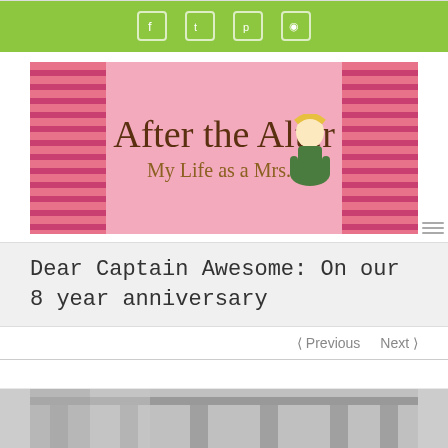Social icons bar (Facebook, Twitter, Pinterest, RSS)
[Figure (logo): After the Alter blog banner — pink and stripe background with cursive title text 'After the Alter' and subtitle 'My Life as a Mrs...' with cartoon blonde woman illustration]
Dear Captain Awesome: On our 8 year anniversary
< Previous   Next >